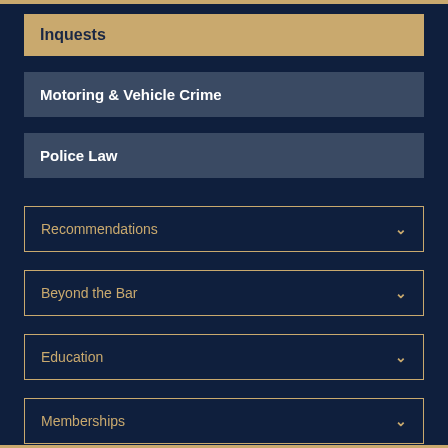Inquests
Motoring & Vehicle Crime
Police Law
Recommendations
Beyond the Bar
Education
Memberships
News